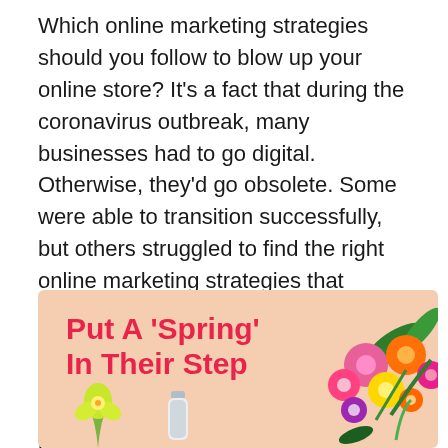Which online marketing strategies should you follow to blow up your online store? It's a fact that during the coronavirus outbreak, many businesses had to go digital. Otherwise, they'd go obsolete. Some were able to transition successfully, but others struggled to find the right online marketing strategies that worked for their business. If you're not getting the results you desire from your current marketing efforts, it's never too late to change your marketing strategy.
[Figure (infographic): Pink/peach background advertisement banner reading 'Put A Spring In Their Step' in bold red text, with colorful flower bouquet on the right and yellow orchid and small bottle on the lower left.]